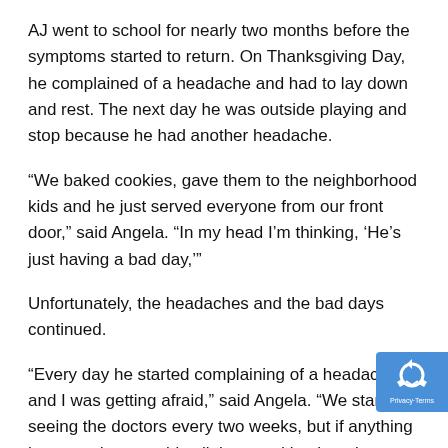AJ went to school for nearly two months before the symptoms started to return. On Thanksgiving Day, he complained of a headache and had to lay down and rest. The next day he was outside playing and stop because he had another headache.
“We baked cookies, gave them to the neighborhood kids and he just served everyone from our front door,” said Angela. “In my head I’m thinking, ‘He’s just having a bad day,’”
Unfortunately, the headaches and the bad days continued.
“Every day he started complaining of a headache and I was getting afraid,” said Angela. “We started seeing the doctors every two weeks, but if anything happened we would call them and let them kn
“To be honest, every two weeks he lost something. From November